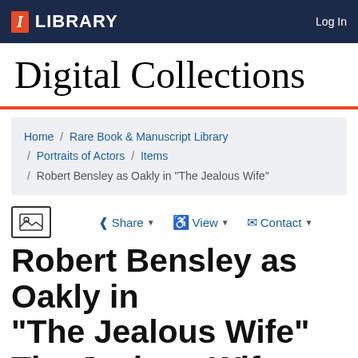I LIBRARY   Log In
Digital Collections
Home / Rare Book & Manuscript Library / Portraits of Actors / Items / Robert Bensley as Oakly in "The Jealous Wife"
Share   View   Contact
Robert Bensley as Oakly in "The Jealous Wife"
The Jealous Wife